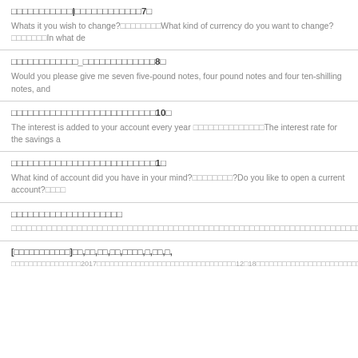□□□□□□□□□□□|□□□□□□□□□□□□7□
Whats it you wish to change?□□□□□□□□What kind of currency do you want to change?□□□□□□□In what de
□□□□□□□□□□□□_□□□□□□□□□□□□□8□
Would you please give me seven five-pound notes, four pound notes and four ten-shilling notes, and
□□□□□□□□□□□□□□□□□□□□□□□□□□10□
The interest is added to your account every year □□□□□□□□□□□□□□The interest rate for the savings a
□□□□□□□□□□□□□□□□□□□□□□□□□□1□
What kind of account did you have in your mind?□□□□□□□□?Do you like to open a current account?□□□□
□□□□□□□□□□□□□□□□□□□□
□□□□□□□□□□□□□□□□□□□□□□□□□□□□□□□□□□□□□□□□□□□□□□□□□□□□□□□□□□□□□□□□□□□□□□□□□□□□□□□□□□□□□□□□□□□□□□□□□□□□□□□□□□□□□□□□□□□□□□□□□□□□□□□□□□□□□□□□□□□□□□□□□□□□□□□□□□□□□"□□
[□□□□□□□□□□□]□□,□□,□□,□□,□□□□,□,□□,□,
□□□□□□□□□□□□□□□□2017□□□□□□□□□□□□□□□□□□□□□□□□□□□□□□□□12□18□□□□□□□□□□□□□□□□□□□□□□□□□(□□PETS)□□□□□□